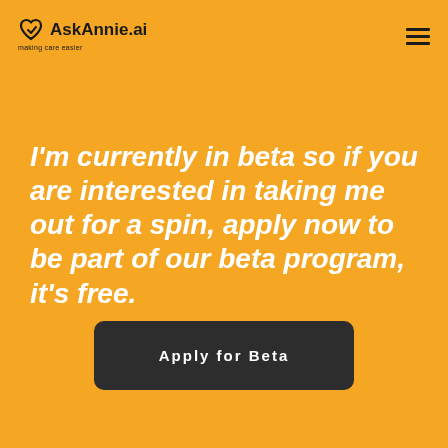AskAnnie.ai — making care easier
I'm currently in beta so if you are interested in taking me out for a spin, apply now to be part of our beta program, it's free.
Apply for Beta